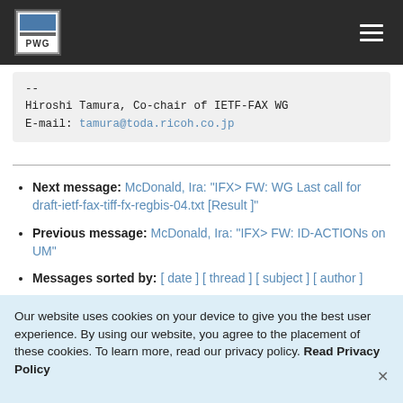PWG [logo] [hamburger menu]
--
Hiroshi Tamura, Co-chair of IETF-FAX WG
E-mail: tamura@toda.ricoh.co.jp
Next message: McDonald, Ira: "IFX> FW: WG Last call for draft-ietf-fax-tiff-fx-regbis-04.txt [Result ]"
Previous message: McDonald, Ira: "IFX> FW: ID-ACTIONs on UM"
Messages sorted by: [ date ] [ thread ] [ subject ] [ author ]
Our website uses cookies on your device to give you the best user experience. By using our website, you agree to the placement of these cookies. To learn more, read our privacy policy. Read Privacy Policy